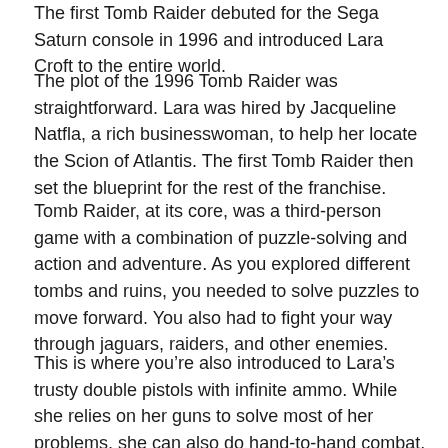The first Tomb Raider debuted for the Sega Saturn console in 1996 and introduced Lara Croft to the entire world.
The plot of the 1996 Tomb Raider was straightforward. Lara was hired by Jacqueline Natfla, a rich businesswoman, to help her locate the Scion of Atlantis. The first Tomb Raider then set the blueprint for the rest of the franchise.
Tomb Raider, at its core, was a third-person game with a combination of puzzle-solving and action and adventure. As you explored different tombs and ruins, you needed to solve puzzles to move forward. You also had to fight your way through jaguars, raiders, and other enemies.
This is where you're also introduced to Lara's trusty double pistols with infinite ammo. While she relies on her guns to solve most of her problems, she can also do hand-to-hand combat.